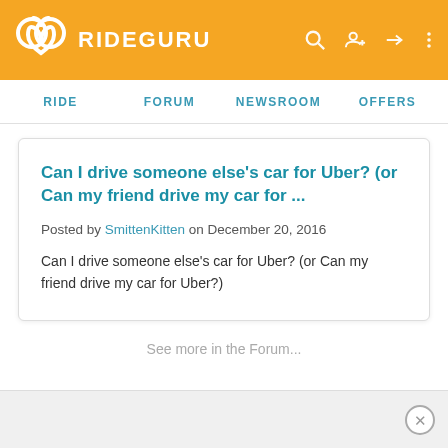RIDEGURU
RIDE  FORUM  NEWSROOM  OFFERS
Can I drive someone else's car for Uber? (or Can my friend drive my car for ...
Posted by SmittenKitten on December 20, 2016
Can I drive someone else's car for Uber? (or Can my friend drive my car for Uber?)
See more in the Forum...